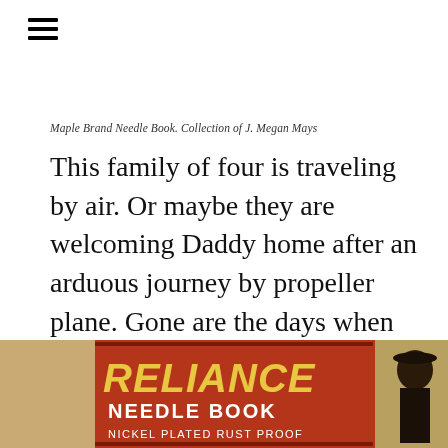≡
Maple Brand Needle Book. Collection of J. Megan Mays
This family of four is traveling by air. Or maybe they are welcoming Daddy home after an arduous journey by propeller plane. Gone are the days when we dressed up to travel.
[Figure (photo): Partial view of a Reliance Needle Book packaging, showing red bold text 'RELIANCE' and below it 'NEEDLE BOOK' and 'NICKEL PLATED RUST PROOF'. Vintage product packaging with illustrations.]